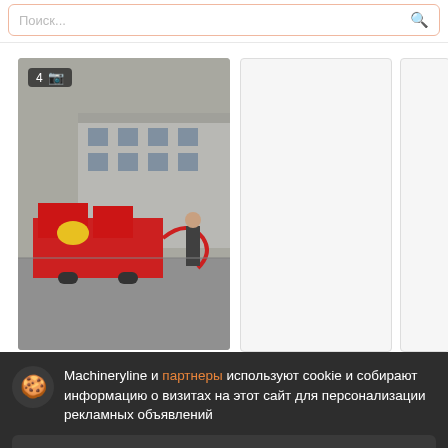Поиск...
[Figure (photo): Red HYDROG Hydrog ZSK machine on a trailer in a parking lot in front of a building, with a man standing next to it holding a hose. Badge showing '4' photos.]
[Figure (photo): Second product card (blank/loading)]
[Figure (photo): Third product card (partially visible, blank)]
HYDROG Hydrog ZSK
целого долгосу
Запсшир...
Год: 2022
2. Pozicia: 1,001
Machineryline и партнеры используют cookie и собирают информацию о визитах на этот сайт для персонализации рекламных объявлений
Подробнее
Согласиться и закрыть